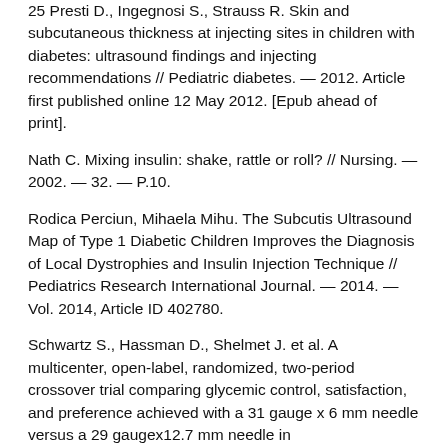25 Presti D., Ingegnosi S., Strauss R. Skin and subcutaneous thickness at injecting sites in children with diabetes: ultrasound findings and injecting recommendations // Pediatric diabetes. — 2012. Article first published online 12 May 2012. [Epub ahead of print].
Nath C. Mixing insulin: shake, rattle or roll? // Nursing. — 2002. — 32. — P.10.
Rodica Perciun, Mihaela Mihu. The Subcutis Ultrasound Map of Type 1 Diabetic Children Improves the Diagnosis of Local Dystrophies and Insulin Injection Technique // Pediatrics Research International Journal. — 2014. — Vol. 2014, Article ID 402780.
Schwartz S., Hassman D., Shelmet J. et al. A multicenter, open-label, randomized, two-period crossover trial comparing glycemic control, satisfaction, and preference achieved with a 31 gauge x 6 mm needle versus a 29 gaugex12.7 mm needle in